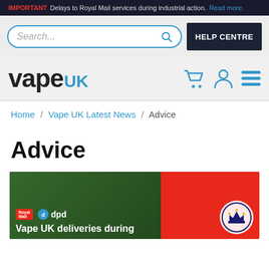IMPORTANT Delays to Royal Mail services during industrial action. Read more.
Search...
HELP CENTRE
[Figure (logo): Vape UK logo with cart, person, and menu icons]
Home / Vape UK Latest News / Advice
Advice
[Figure (photo): Two article cards: left shows green background with Royal Mail and DPD logos and text 'Vape UK deliveries during'; right shows red background with a royal emblem]